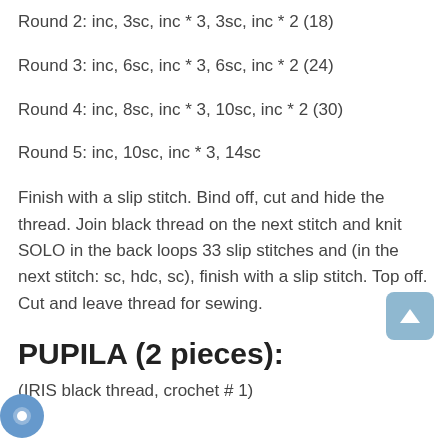Round 2: inc, 3sc, inc * 3, 3sc, inc * 2 (18)
Round 3: inc, 6sc, inc * 3, 6sc, inc * 2 (24)
Round 4: inc, 8sc, inc * 3, 10sc, inc * 2 (30)
Round 5: inc, 10sc, inc * 3, 14sc
Finish with a slip stitch. Bind off, cut and hide the thread. Join black thread on the next stitch and knit SOLO in the back loops 33 slip stitches and (in the next stitch: sc, hdc, sc), finish with a slip stitch. Top off. Cut and leave thread for sewing.
PUPILA (2 pieces):
(IRIS black thread, crochet # 1)